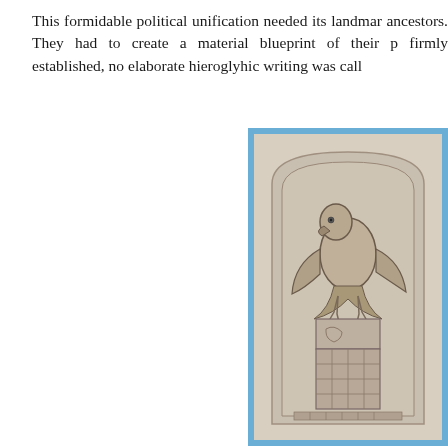This formidable political unification needed its landmar ancestors. They had to create a material blueprint of their p firmly established, no elaborate hieroglyhic writing was call
[Figure (photo): Ancient Egyptian stone stele with carved relief of a falcon (Horus) perched atop a serekh (rectangular palace facade symbol), with hieroglyphic inscriptions below, mounted on a blue background.]